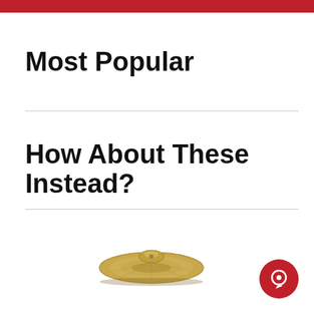Most Popular
How About These Instead?
[Figure (photo): A pair of brass cymbals stacked together, viewed from above at a slight angle]
[Figure (illustration): Red circular chat button with a white chat icon]